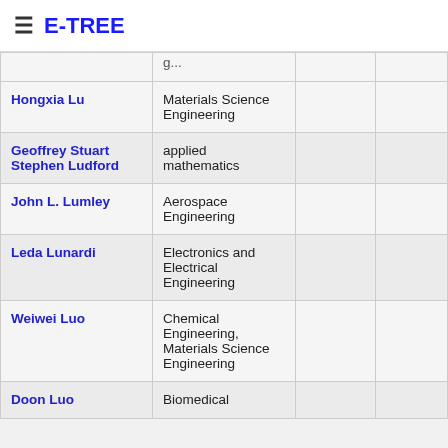☰ E-TREE
| Name | Field |  |  |
| --- | --- | --- | --- |
| Hongxia Lu | Materials Science Engineering |  |  |
| Geoffrey Stuart Stephen Ludford | applied mathematics |  |  |
| John L. Lumley | Aerospace Engineering |  |  |
| Leda Lunardi | Electronics and Electrical Engineering |  |  |
| Weiwei Luo | Chemical Engineering, Materials Science Engineering |  |  |
| Doon Luo | Biomedical |  |  |